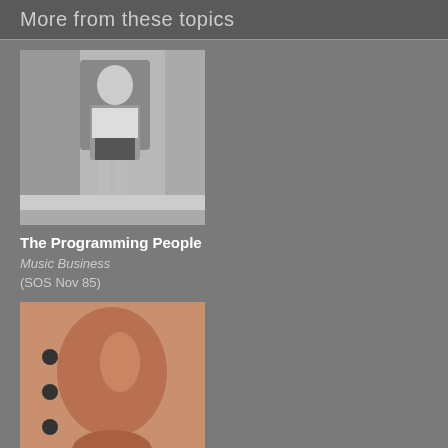More from these topics
[Figure (photo): Black and white photo of a woman crouching on the floor]
The Programming People
Music Business
(SOS Nov 85)
[Figure (photo): Close-up photo of the back of an electric guitar with buttons]
Sex and the Rock Star
Music Business, Performing
(12T Sep 84)
[Figure (photo): Photo of a man in white shirt leaning over a green table]